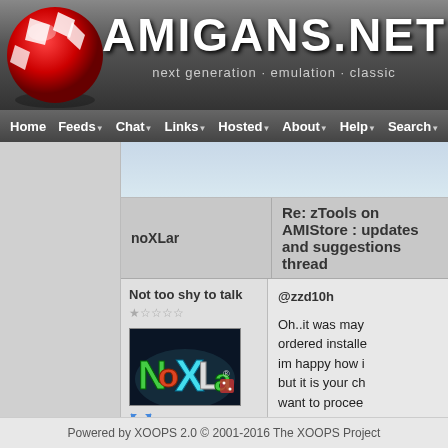AMIGANS.NET — next generation · emulation · classic
Home  Feeds  Chat  Links  Hosted  About  Help  Search
[Figure (screenshot): Ad/banner area at top of forum content]
noXLar
Re: zTools on AMIStore : updates and suggestions thread
Not too shy to talk
★☆☆☆☆
[Figure (photo): noXLar user avatar showing NoXLar logo on dark background]
@zzd10h

Oh..it was may ordered installe im happy how i but it is your ch want to procee course. I'm hap tools anyway.

I'll think it's time donation again.. sent..Thank yo
Powered by XOOPS 2.0 © 2001-2016 The XOOPS Project